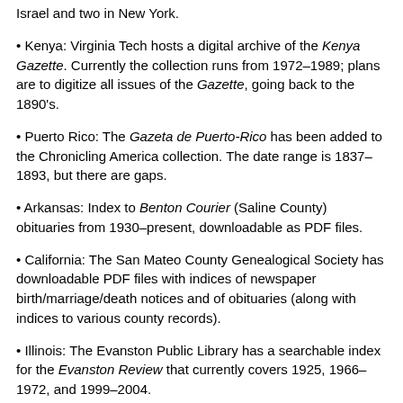Israel and two in New York.
Kenya: Virginia Tech hosts a digital archive of the Kenya Gazette. Currently the collection runs from 1972–1989; plans are to digitize all issues of the Gazette, going back to the 1890's.
Puerto Rico: The Gazeta de Puerto-Rico has been added to the Chronicling America collection. The date range is 1837–1893, but there are gaps.
Arkansas: Index to Benton Courier (Saline County) obituaries from 1930–present, downloadable as PDF files.
California: The San Mateo County Genealogical Society has downloadable PDF files with indices of newspaper birth/marriage/death notices and of obituaries (along with indices to various county records).
Illinois: The Evanston Public Library has a searchable index for the Evanston Review that currently covers 1925, 1966–1972, and 1999–2004.